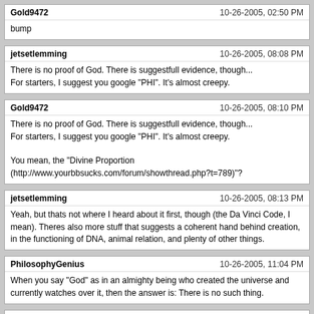Gold9472 | 10-26-2005, 02:50 PM
bump
jetsetlemming | 10-26-2005, 08:08 PM
There is no proof of God. There is suggestfull evidence, though... For starters, I suggest you google "PHI". It's almost creepy.
Gold9472 | 10-26-2005, 08:10 PM
There is no proof of God. There is suggestfull evidence, though... For starters, I suggest you google "PHI". It's almost creepy.

You mean, the "Divine Proportion (http://www.yourbbsucks.com/forum/showthread.php?t=789)"?
jetsetlemming | 10-26-2005, 08:13 PM
Yeah, but thats not where I heard about it first, though (the Da Vinci Code, I mean). Theres also more stuff that suggests a coherent hand behind creation, in the functioning of DNA, animal relation, and plenty of other things.
PhilosophyGenius | 10-26-2005, 11:04 PM
When you say "God" as in an almighty being who created the universe and currently watches over it, then the answer is: There is no such thing.
Powered by vBulletin® Version 4.2.5 Copyright © 2022 vBulletin Solutions Inc. All rights reserved.